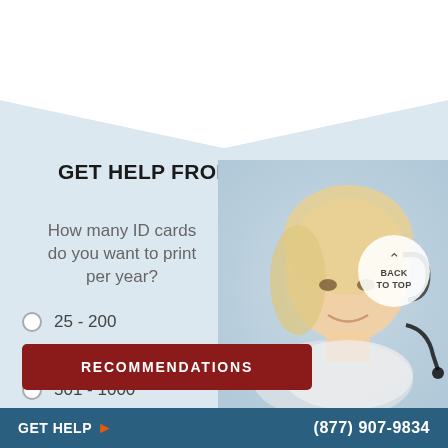[Figure (other): Light blue background section with downward pointing chevron/arrow shape at top. Background image of woman wearing headset (customer support representative) on the right side.]
GET HELP FROM AN ID EXPERT
How many ID cards do you want to print per year?
25 - 200
201 - 500
501 - 1000
1000+
RECOMMENDATIONS
GET HELP  ▶  (877) 907-9834